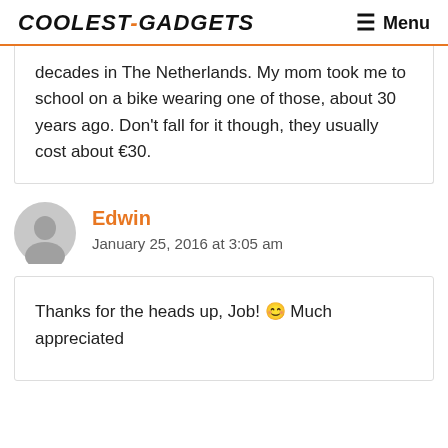COOLEST-GADGETS  ☰ Menu
decades in The Netherlands. My mom took me to school on a bike wearing one of those, about 30 years ago. Don't fall for it though, they usually cost about €30.
Edwin
January 25, 2016 at 3:05 am
Thanks for the heads up, Job! 😊 Much appreciated